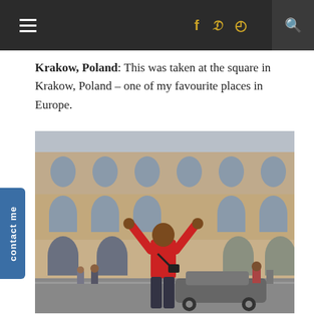Navigation bar with hamburger menu, social icons (f, twitter, instagram), and search
Krakow, Poland: This was taken at the square in Krakow, Poland – one of my favourite places in Europe.
[Figure (photo): Person in red shirt with arms raised standing in front of the Colosseum in Rome, with a car visible in the foreground and other tourists in the background]